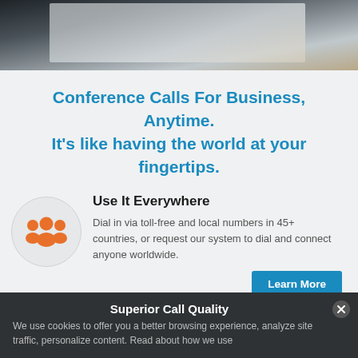[Figure (photo): Partial view of a blurred background photo strip at the top of the page — dark grey and light beige tones suggesting an office or product setting.]
Conference Calls For Business, Anytime. It's like having the world at your fingertips.
[Figure (illustration): Orange group of people / conference call icon inside a light grey circle.]
Use It Everywhere
Dial in via toll-free and local numbers in 45+ countries, or request our system to dial and connect anyone worldwide.
Learn More
Superior Call Quality
We use cookies to offer you a better browsing experience, analyze site traffic, personalize content. Read about how we use